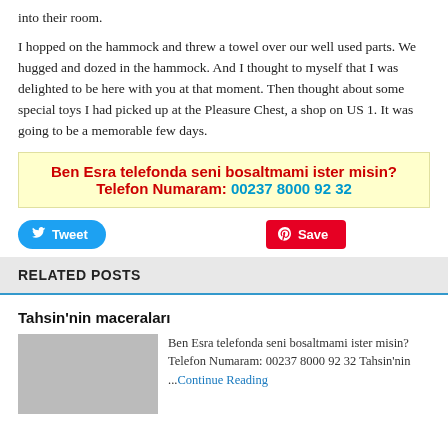into their room.
I hopped on the hammock and threw a towel over our well used parts. We hugged and dozed in the hammock. And I thought to myself that I was delighted to be here with you at that moment. Then thought about some special toys I had picked up at the Pleasure Chest, a shop on US 1. It was going to be a memorable few days.
[Figure (infographic): Yellow background promotional box: 'Ben Esra telefonda seni bosaltmami ister misin? Telefon Numaram: 00237 8000 92 32' in red and blue bold text]
[Figure (other): Tweet button (blue rounded) and Save button (red, Pinterest-style)]
RELATED POSTS
Tahsin'nin maceraları
Ben Esra telefonda seni bosaltmami ister misin? Telefon Numaram: 00237 8000 92 32 Tahsin'nin ...Continue Reading